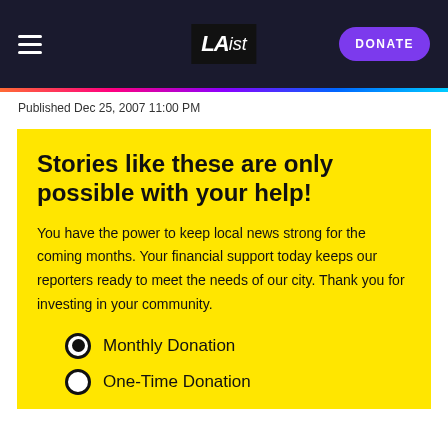LAist — DONATE
Published Dec 25, 2007 11:00 PM
Stories like these are only possible with your help!
You have the power to keep local news strong for the coming months. Your financial support today keeps our reporters ready to meet the needs of our city. Thank you for investing in your community.
Monthly Donation
One-Time Donation